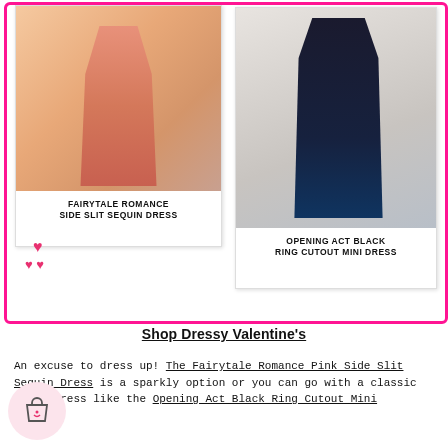[Figure (photo): Two polaroid-style photos of women in dresses. Left: a woman in a pink/rose sequin dress with heels, labeled 'FAIRYTALE ROMANCE SIDE SLIT SEQUIN DRESS'. Right: a blonde woman in a black ring cutout mini dress holding a pink rose, labeled 'OPENING ACT BLACK RING CUTOUT MINI DRESS'. Pink heart decorations in bottom-left area. All enclosed in a hot-pink border frame.]
Shop Dressy Valentine's
An excuse to dress up! The Fairytale Romance Pink Side Slit Sequin Dress is a sparkly option or you can go with a classic black dress like the Opening Act Black Ring Cutout Mini